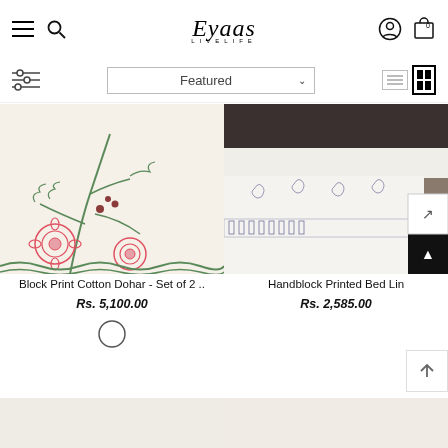Eyaas Live Life — e-commerce product listing page
[Figure (screenshot): Eyaas LiveLife online store header with hamburger menu, search icon, logo, user account icon and cart icon]
[Figure (screenshot): Filter/sort bar with filter sliders icon, Featured dropdown selector, and list/grid view toggle icons]
[Figure (photo): Block Print Cotton Dohar product image showing white fabric with red floral and green leaf block print pattern]
Block Print Cotton Dohar - Set of 2 ..
Rs. 5,100.00
[Figure (photo): Handblock Printed Bed Linen product image showing white bedsheet with gray decorative block print border on a bed in a room]
Handblock Printed Bed Lin
Rs. 2,585.00
[Figure (other): Two partially visible product card images at the bottom of the page]